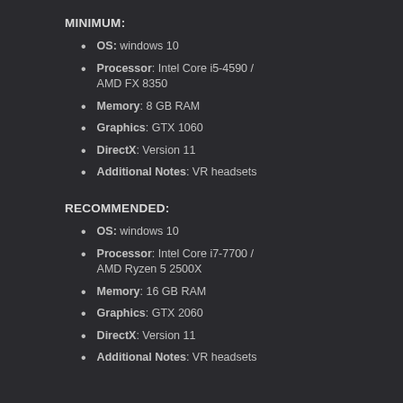MINIMUM:
OS: windows 10
Processor: Intel Core i5-4590 / AMD FX 8350
Memory: 8 GB RAM
Graphics: GTX 1060
DirectX: Version 11
Additional Notes: VR headsets
RECOMMENDED:
OS: windows 10
Processor: Intel Core i7-7700 / AMD Ryzen 5 2500X
Memory: 16 GB RAM
Graphics: GTX 2060
DirectX: Version 11
Additional Notes: VR headsets